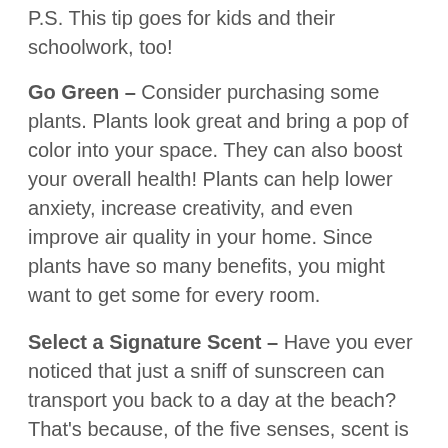P.S. This tip goes for kids and their schoolwork, too!
Go Green – Consider purchasing some plants. Plants look great and bring a pop of color into your space. They can also boost your overall health! Plants can help lower anxiety, increase creativity, and even improve air quality in your home. Since plants have so many benefits, you might want to get some for every room.
Select a Signature Scent – Have you ever noticed that just a sniff of sunscreen can transport you back to a day at the beach? That's because, of the five senses, scent is most closely linked to emotions and memories. Use this to your advantage and pick a signature fragrance that makes your house feel like home every time you walk through the door. With all the candles, diffusers and room sprays out there, you're bound to find a fragrance that's uniquely you!